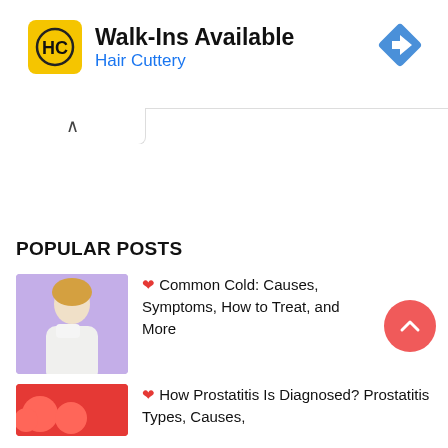[Figure (screenshot): Hair Cuttery advertisement banner with yellow HC logo, 'Walk-Ins Available' headline, 'Hair Cuttery' subtitle in blue, and a blue diamond navigation icon on the right]
▷
×
[Figure (other): Browser tab/accordion collapse button showing a caret-up (^) symbol]
POPULAR POSTS
[Figure (photo): Woman with blonde hair blowing her nose against a purple background]
❤ Common Cold: Causes, Symptoms, How to Treat, and More
[Figure (photo): Red circular objects/balls (possibly cells) partially visible at bottom of page]
❤ How Prostatitis Is Diagnosed? Prostatitis Types, Causes,